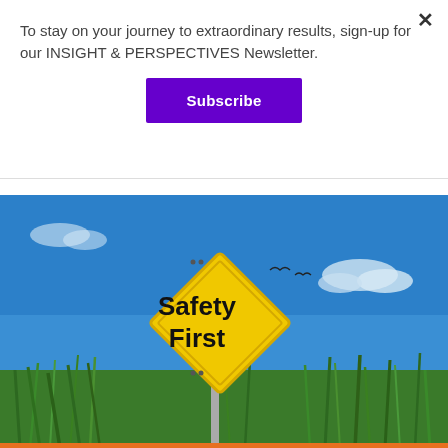To stay on your journey to extraordinary results, sign-up for our INSIGHT & PERSPECTIVES Newsletter.
Subscribe
[Figure (photo): A yellow diamond-shaped Safety First road sign standing in a green grass field against a blue sky with clouds.]